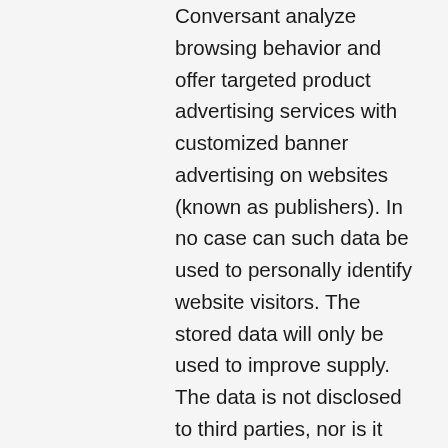Conversant analyze browsing behavior and offer targeted product advertising services with customized banner advertising on websites (known as publishers). In no case can such data be used to personally identify website visitors. The stored data will only be used to improve supply. The data is not disclosed to third parties, nor is it used for any other purpose. You can choose not to participate in the completely anonymous browsing data analysis by following the following link for Criteo http://www.criteo.com/privacy in terms of hosting and Conversant at http: //www.conversantmedia.com / opt-out click. For more information about Criteo technology, you can visit the Criteo privacy policy (http://www.criteo.com/en-GB/privacypolicy) for Conversant by clicking the following link: http: // www